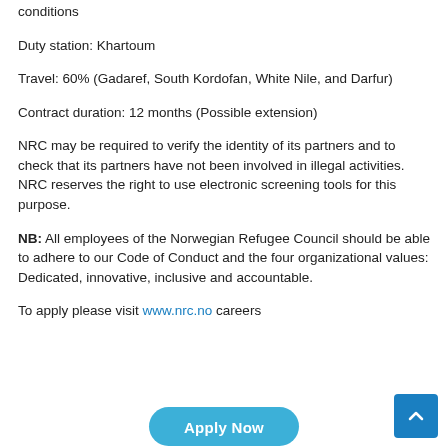conditions
Duty station: Khartoum
Travel: 60% (Gadaref, South Kordofan, White Nile, and Darfur)
Contract duration: 12 months (Possible extension)
NRC may be required to verify the identity of its partners and to check that its partners have not been involved in illegal activities. NRC reserves the right to use electronic screening tools for this purpose.
NB: All employees of the Norwegian Refugee Council should be able to adhere to our Code of Conduct and the four organizational values: Dedicated, innovative, inclusive and accountable.
To apply please visit www.nrc.no careers